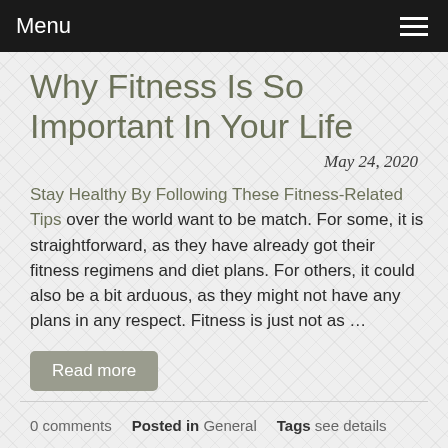Menu
Why Fitness Is So Important In Your Life
May 24, 2020
Stay Healthy By Following These Fitness-Related Tips over the world want to be match. For some, it is straightforward, as they have already got their fitness regimens and diet plans. For others, it could also be a bit arduous, as they might not have any plans in any respect. Fitness is just not as ...
Read more
0 comments  Posted in General  Tags see details